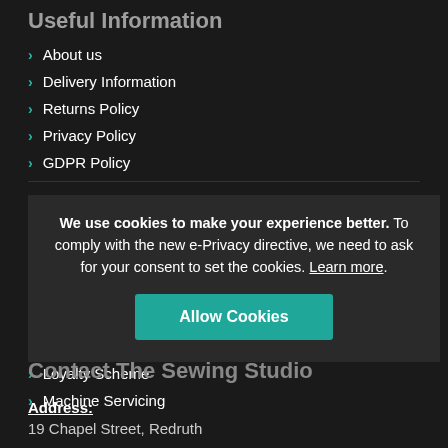Useful Information
About us
Delivery Information
Returns Policy
Privacy Policy
GDPR Policy
Terms and Conditions
More Information
Reviews
Contact us
Sitemap
Finance Options
Loyalty Scheme
Machine Servicing
We use cookies to make your experience better. To comply with the new e-Privacy directive, we need to ask for your consent to set the cookies. Learn more.
Contact The Sewing Studio
Address:
19 Chapel Street, Redruth